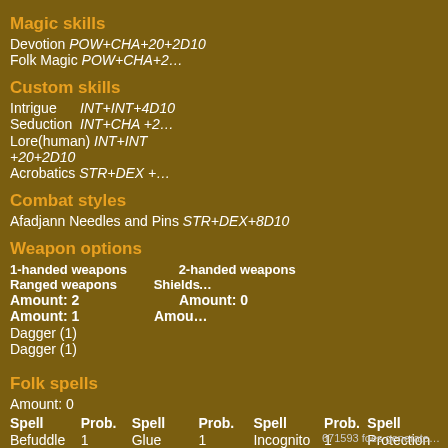Magic skills
Devotion POW+CHA+20+2D10   Folk Magic POW+CHA+2…
Custom skills
Intrigue INT+INT+4D10   Seduction INT+CHA +2…
Lore(human) INT+INT +20+2D10   Acrobatics STR+DEX +…
Combat styles
Afadjann Needles and Pins STR+DEX+8D10
Weapon options
| 1-handed weapons | 2-handed weapons | Ranged weapons | Shields |
| --- | --- | --- | --- |
| Amount: 2 | Amount: 0 | Amount: 1 | Amou… |
| Dagger (1) |  | Dagger (1) |  |
Folk spells
Amount: 0
| Spell | Prob. | Spell | Prob. | Spell | Prob. | Spell |
| --- | --- | --- | --- | --- | --- | --- |
| Befuddle | 1 | Glue | 1 | Incognito | 1 | Protection |
| Slow | 1 |  |  |  |  |  |
671593 foes generate…